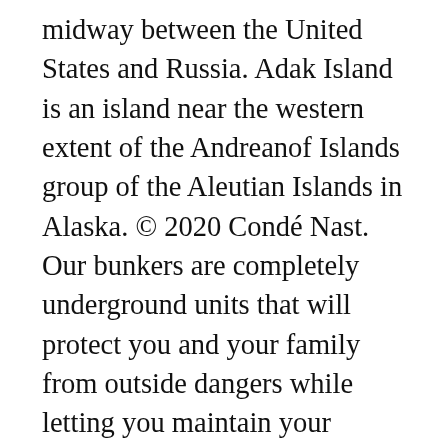midway between the United States and Russia. Adak Island is an island near the western extent of the Andreanof Islands group of the Aleutian Islands in Alaska. © 2020 Condé Nast. Our bunkers are completely underground units that will protect you and your family from outside dangers while letting you maintain your quality of life indoors. Vous pouvez facilement rechercher votre hôtel à Adak Island avec l'une des méthodes suivantes : Affichez notre sélection d'hôtels à Adak Island. Max position: 440 -----Explore. A sunken tugboat inside the harbor wall at Bay 5. Everything is fallen apart, battered by the weather and picked over by scavengers. Huff wandered through empty buildings filled with